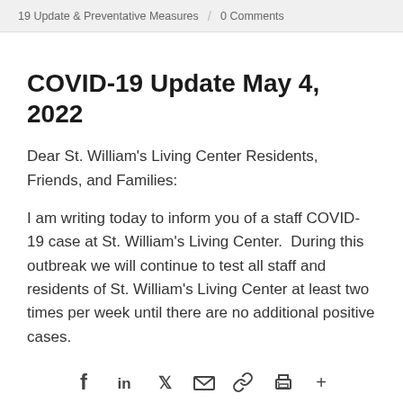19 Update & Preventative Measures / 0 Comments
COVID-19 Update May 4, 2022
Dear St. William's Living Center Residents, Friends, and Families:
I am writing today to inform you of a staff COVID-19 case at St. William's Living Center. During this outbreak we will continue to test all staff and residents of St. William's Living Center at least two times per week until there are no additional positive cases.